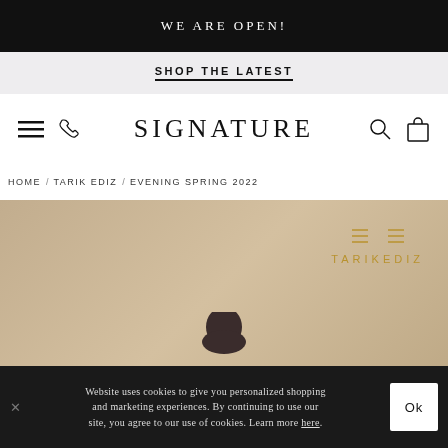WE ARE OPEN!
SHOP THE LATEST
[Figure (screenshot): Navigation bar with hamburger menu, phone icon, SIGNATURE logo, search icon, and shopping bag icon]
HOME / TARIK EDIZ / EVENING SPRING 2022
[Figure (photo): Hero image with beige/tan background showing Tarik Ediz logo in gold and partial view of a model's head]
Website uses cookies to give you personalized shopping and marketing experiences. By continuing to use our site, you agree to our use of cookies. Learn more here.